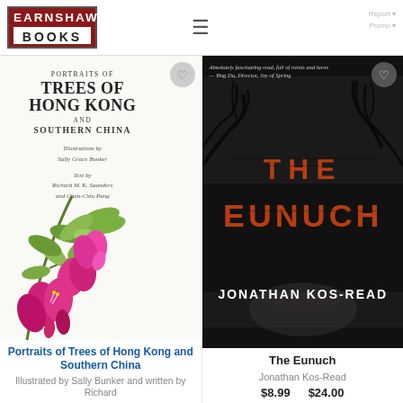[Figure (logo): Earnshaw Books logo — dark red square with white text EARNSHAW on top line and BOOKS on bottom line separated by a horizontal rule]
[Figure (illustration): Book cover: Portraits of Trees of Hong Kong and Southern China — white background with botanical illustration of pink/magenta Bauhinia flowers and green leaves on left side, title text on right]
Portraits of Trees of Hong Kong and Southern China
Illustrated by Sally Bunker and written by Richard
[Figure (photo): Book cover: The Eunuch by Jonathan Kos-Read — dark/black background with bare tree silhouettes, large burnt-orange distressed title text THE EUNUCH, author name at bottom in white]
The Eunuch
Jonathan Kos-Read
$8.99   $24.00